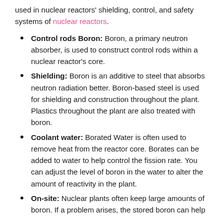used in nuclear reactors' shielding, control, and safety systems of nuclear reactors.
Control rods Boron: Boron, a primary neutron absorber, is used to construct control rods within a nuclear reactor's core.
Shielding: Boron is an additive to steel that absorbs neutron radiation better. Boron-based steel is used for shielding and construction throughout the plant. Plastics throughout the plant are also treated with boron.
Coolant water: Borated Water is often used to remove heat from the reactor core. Borates can be added to water to help control the fission rate. You can adjust the level of boron in the water to alter the amount of reactivity in the plant.
On-site: Nuclear plants often keep large amounts of boron. If a problem arises, the stored boron can help